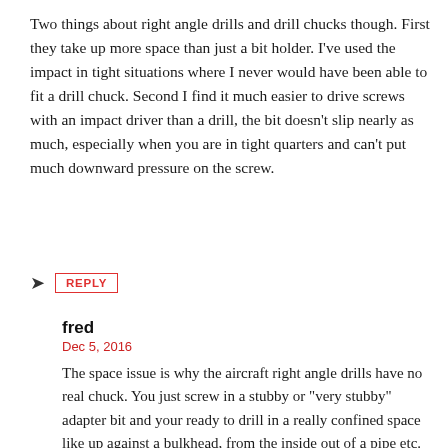Two things about right angle drills and drill chucks though. First they take up more space than just a bit holder. I've used the impact in tight situations where I never would have been able to fit a drill chuck. Second I find it much easier to drive screws with an impact driver than a drill, the bit doesn't slip nearly as much, especially when you are in tight quarters and can't put much downward pressure on the screw.
➤ REPLY
fred
Dec 5, 2016
The space issue is why the aircraft right angle drills have no real chuck. You just screw in a stubby or "very stubby" adapter bit and your ready to drill in a really confined space like up against a bulkhead, from the inside out of a pipe etc. Of course the very stubby bits primarily are used for sheet metal